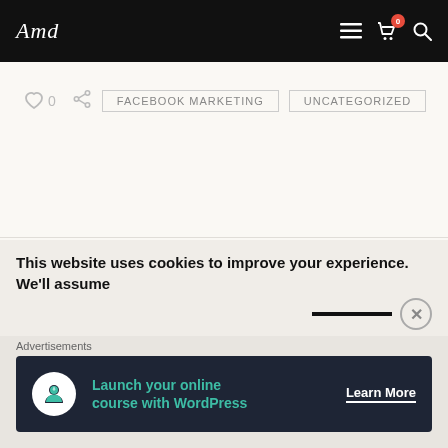Navigation bar with logo and icons
0   FACEBOOK MARKETING   UNCATEGORIZED
Please login to comment.
This website uses cookies to improve your experience. We'll assume
Advertisements
[Figure (infographic): Ad banner: Launch your online course with WordPress — Learn More button]